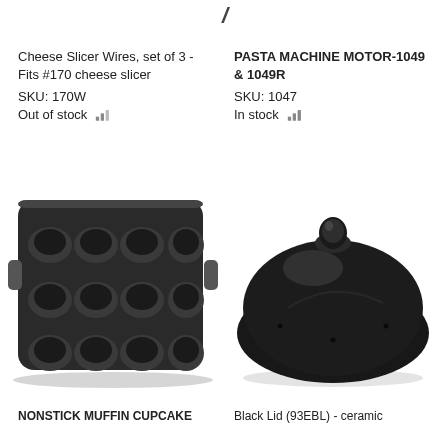[Figure (logo): Slash/chevron mark at top center of page]
Cheese Slicer Wires, set of 3 - Fits #170 cheese slicer
SKU: 170W
Out of stock
PASTA MACHINE MOTOR-1049 & 1049R
SKU: 1047
In stock
[Figure (photo): Black nonstick muffin/cupcake pan with 12 cups]
[Figure (photo): Black ceramic lid (93EBL) - shiny round dome lid]
NONSTICK MUFFIN CUPCAKE
Black Lid (93EBL) - ceramic